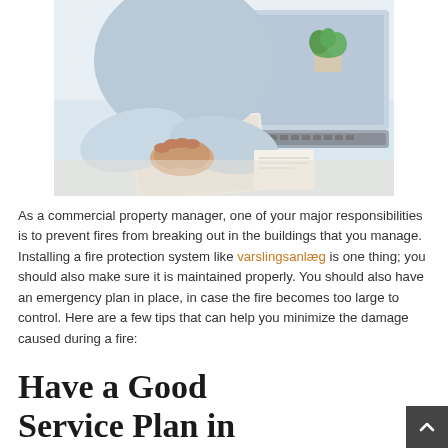[Figure (photo): A person in a light blue shirt with clasped hands resting on a notebook, sitting at a desk with a laptop and a plant in the background.]
As a commercial property manager, one of your major responsibilities is to prevent fires from breaking out in the buildings that you manage. Installing a fire protection system like varslingsanlæg is one thing; you should also make sure it is maintained properly. You should also have an emergency plan in place, in case the fire becomes too large to control. Here are a few tips that can help you minimize the damage caused during a fire:
Have a Good Service Plan in